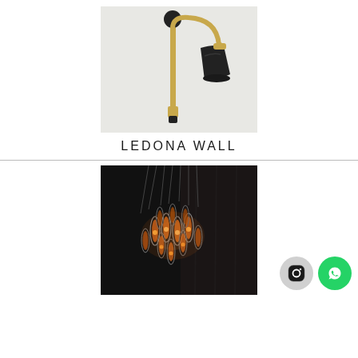[Figure (photo): Ledona wall lamp: a sleek articulated wall sconce with a brass/gold vertical arm, a curved brass arc, and a black bell-shaped shade, mounted on a round black wall bracket. Light gray background.]
LEDONA WALL
[Figure (photo): A chandelier with multiple glass bulb pendants hanging against a dark textured black wall. Warm Edison-style bulbs visible inside glass tubes, cluster pendant light.]
[Figure (other): Social media buttons: Instagram (dark gray circle with Instagram icon) and WhatsApp (green circle with WhatsApp icon)]